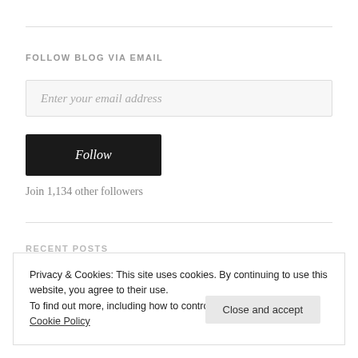FOLLOW BLOG VIA EMAIL
Enter your email address
Follow
Join 1,134 other followers
Privacy & Cookies: This site uses cookies. By continuing to use this website, you agree to their use.
To find out more, including how to control cookies, see here: Cookie Policy
Close and accept